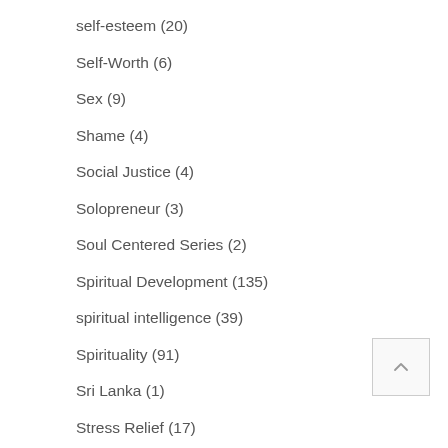self-esteem (20)
Self-Worth (6)
Sex (9)
Shame (4)
Social Justice (4)
Solopreneur (3)
Soul Centered Series (2)
Spiritual Development (135)
spiritual intelligence (39)
Spirituality (91)
Sri Lanka (1)
Stress Relief (17)
Success (19)
Sydney Banks (31)